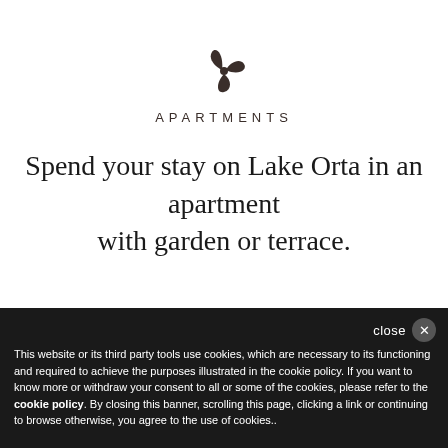[Figure (logo): Stylized pinwheel/flower logo in dark brown]
APARTMENTS
Spend your stay on Lake Orta in an apartment with garden or terrace.
close ×
This website or its third party tools use cookies, which are necessary to its functioning and required to achieve the purposes illustrated in the cookie policy. If you want to know more or withdraw your consent to all or some of the cookies, please refer to the cookie policy. By closing this banner, scrolling this page, clicking a link or continuing to browse otherwise, you agree to the use of cookies..